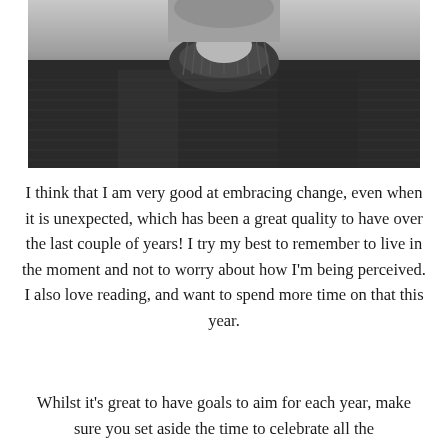[Figure (photo): Black and white close-up photograph of a person wearing a dark knit turtleneck sweater, cropped to show the torso and lower face/neck area.]
I think that I am very good at embracing change, even when it is unexpected, which has been a great quality to have over the last couple of years! I try my best to remember to live in the moment and not to worry about how I'm being perceived. I also love reading, and want to spend more time on that this year.
Whilst it's great to have goals to aim for each year, make sure you set aside the time to celebrate all the